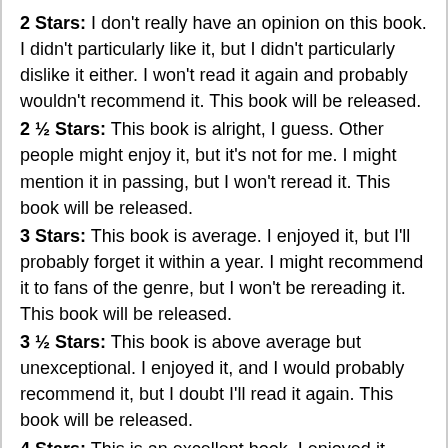2 Stars: I don't really have an opinion on this book. I didn't particularly like it, but I didn't particularly dislike it either. I won't read it again and probably wouldn't recommend it. This book will be released.
2 ½ Stars: This book is alright, I guess. Other people might enjoy it, but it's not for me. I might mention it in passing, but I won't reread it. This book will be released.
3 Stars: This book is average. I enjoyed it, but I'll probably forget it within a year. I might recommend it to fans of the genre, but I won't be rereading it. This book will be released.
3 ½ Stars: This book is above average but unexceptional. I enjoyed it, and I would probably recommend it, but I doubt I'll read it again. This book will be released.
4 Stars: This is an excellent book. I enjoyed it quite a bit and would recommend it to others. I may or may not reread it. This book might be kept, or it might be released.
4 ½ Stars: This book is fantastic. I absolutely loved it and I fully intend to read it again. I would definitely recommend it to others. This book will be kept.
5 Stars: This is an amazing book which I'll reread multiple times. I quite likely sacrificed sleep or skipped meals for this